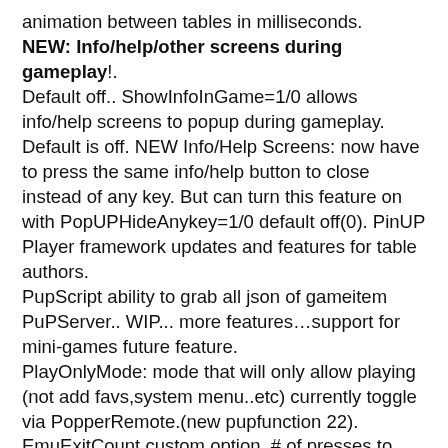animation between tables in milliseconds.
NEW: Info/help/other screens during gameplay!. Default off.. ShowInfoInGame=1/0 allows info/help screens to popup during gameplay. Default is off. NEW Info/Help Screens: now have to press the same info/help button to close instead of any key. But can turn this feature on with PopUPHideAnykey=1/0 default off(0). PinUP Player framework updates and features for table authors.
PupScript ability to grab all json of gameitem
PuPServer.. WIP... more features...support for mini-games future feature.
PlayOnlyMode: mode that will only allow playing (not add favs,system menu..etc) currently toggle via PopperRemote.(new pupfunction 22).
EmuExitCount custom option. # of presses to exit-emu key. Default 1
WheelTopX=0 default. If you make your ‘game select’ screen huge. This will offset the normal centering of the wheelbar by x pixels.